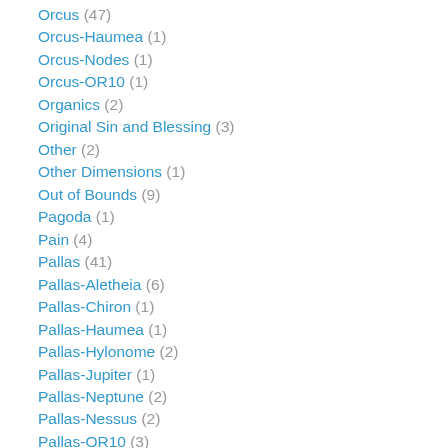Orcus (47)
Orcus-Haumea (1)
Orcus-Nodes (1)
Orcus-OR10 (1)
Organics (2)
Original Sin and Blessing (3)
Other (2)
Other Dimensions (1)
Out of Bounds (9)
Pagoda (1)
Pain (4)
Pallas (41)
Pallas-Aletheia (6)
Pallas-Chiron (1)
Pallas-Haumea (1)
Pallas-Hylonome (2)
Pallas-Jupiter (1)
Pallas-Neptune (2)
Pallas-Nessus (2)
Pallas-OR10 (3)